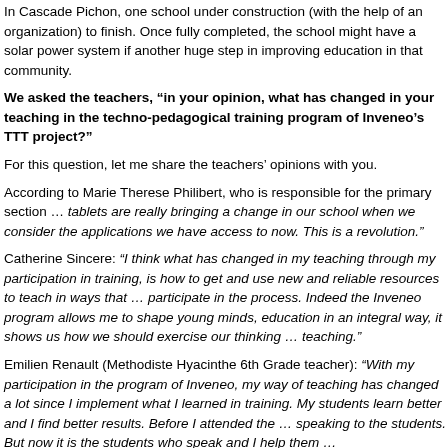In Cascade Pichon, one school under construction (with the help of an organization) to finish. Once fully completed, the school might have a solar power system if ... another huge step in improving education in that community.
We asked the teachers, "in your opinion, what has changed in your teaching in the techno-pedagogical training program of Inveneo's TTT project?"
For this question, let me share the teachers' opinions with you.
According to Marie Therese Philibert, who is responsible for the primary section ... tablets are really bringing a change in our school when we consider the applications we have access to now. This is a revolution."
Catherine Sincere: "I think what has changed in my teaching through my participation in training, is how to get and use new and reliable resources to teach in ways that ... participate in the process. Indeed the Inveneo program allows me to shape young minds, education in an integral way, it shows us how we should exercise our thinking ... teaching."
Emilien Renault (Methodiste Hyacinthe 6th Grade teacher): "With my participation in the program of Inveneo, my way of teaching has changed a lot since I implement what I learned in training. My students learn better and I find better results. Before I attended the training, I was speaking to the students. But now it is the students who speak and I help them ..."